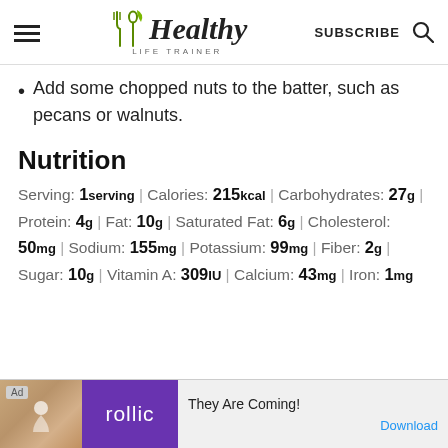Healthy Life Trainer — SUBSCRIBE
Add some chopped nuts to the batter, such as pecans or walnuts.
Nutrition
Serving: 1serving | Calories: 215kcal | Carbohydrates: 27g | Protein: 4g | Fat: 10g | Saturated Fat: 6g | Cholesterol: 50mg | Sodium: 155mg | Potassium: 99mg | Fiber: 2g | Sugar: 10g | Vitamin A: 309IU | Calcium: 43mg | Iron: 1mg
[Figure (other): Advertisement banner for Rollic game app: 'They Are Coming!' with Download link]